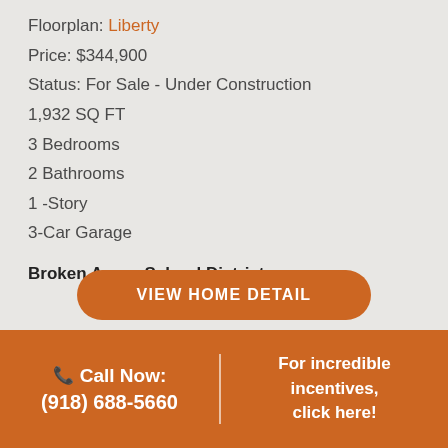Floorplan: Liberty
Price: $344,900
Status: For Sale - Under Construction
1,932 SQ FT
3 Bedrooms
2 Bathrooms
1-Story
3-Car Garage
Broken Arrow School District
VIEW HOME DETAIL
Call Now: (918) 688-5660
For incredible incentives, click here!